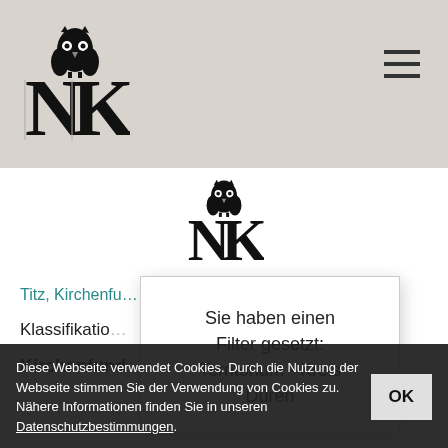NK logo header with hamburger menu
[Figure (logo): NK publisher logo with owl on top of stylized NK letters, shown in main content area center]
Titz, Kirchenfu…
Klassifikation
Kirchenfund
Sie haben einen Filter gesetzt: Territorium - Kreis Düren
Diese Webseite verwendet Cookies. Durch die Nutzung der Webseite stimmen Sie der Verwendung von Cookies zu. Nähere Informationen finden Sie in unseren Datenschutzbestimmungen.
NK Mitteilungen
Fundort